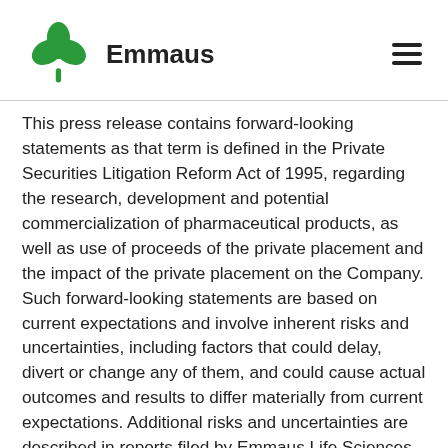Emmaus
This press release contains forward-looking statements as that term is defined in the Private Securities Litigation Reform Act of 1995, regarding the research, development and potential commercialization of pharmaceutical products, as well as use of proceeds of the private placement and the impact of the private placement on the Company. Such forward-looking statements are based on current expectations and involve inherent risks and uncertainties, including factors that could delay, divert or change any of them, and could cause actual outcomes and results to differ materially from current expectations. Additional risks and uncertainties are described in reports filed by Emmaus Life Sciences, Inc. with the U.S. Securities and Exchange Commission, including its Annual Report on Form 10-K and Quarterly Reports on Form 10-Q. Emmaus is providing this information as of the date of this press